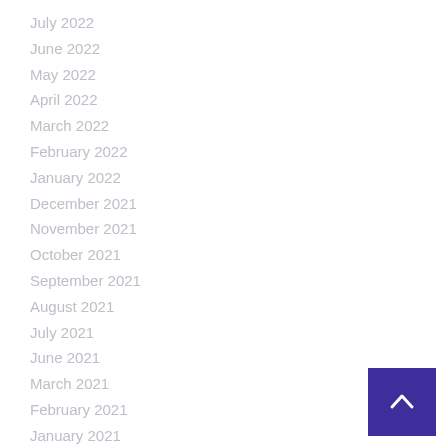July 2022
June 2022
May 2022
April 2022
March 2022
February 2022
January 2022
December 2021
November 2021
October 2021
September 2021
August 2021
July 2021
June 2021
March 2021
February 2021
January 2021
February 2020
January 2020
August 2019
June 2019